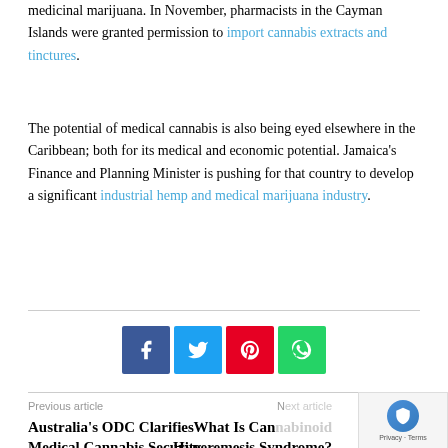medicinal marijuana. In November, pharmacists in the Cayman Islands were granted permission to import cannabis extracts and tinctures.
The potential of medical cannabis is also being eyed elsewhere in the Caribbean; both for its medical and economic potential. Jamaica's Finance and Planning Minister is pushing for that country to develop a significant industrial hemp and medical marijuana industry.
[Figure (other): Social sharing buttons: Facebook (blue), Twitter (light blue), Pinterest (red), WhatsApp (green)]
Previous article
Australia's ODC Clarifies Medical Cannabis Security
Next article
What Is Cannabinoid Hyperemesis Syndrome?